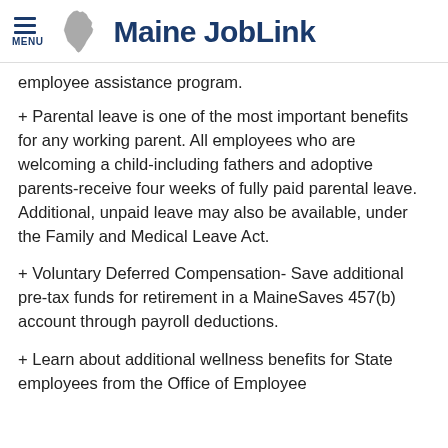Maine JobLink
employee assistance program.
+ Parental leave is one of the most important benefits for any working parent. All employees who are welcoming a child-including fathers and adoptive parents-receive four weeks of fully paid parental leave. Additional, unpaid leave may also be available, under the Family and Medical Leave Act.
+ Voluntary Deferred Compensation- Save additional pre-tax funds for retirement in a MaineSaves 457(b) account through payroll deductions.
+ Learn about additional wellness benefits for State employees from the Office of Employee